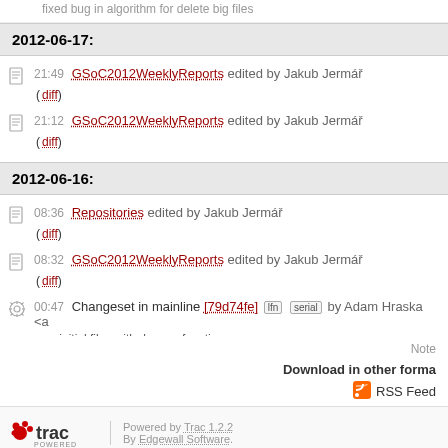fixed bug in algorithm for delete big files
2012-06-17:
21:49 GSoC2012WeeklyReports edited by Jakub Jermář (diff)
21:12 GSoC2012WeeklyReports edited by Jakub Jermář (diff)
2012-06-16:
08:36 Repositories edited by Jakub Jermář (diff)
08:32 GSoC2012WeeklyReports edited by Jakub Jermář (diff)
00:47 Changeset in mainline [79d74fe] lfn serial by Adam Hraska <a rcu: initial files with dummy functions.
Note
Download in other forma
RSS Feed
Powered by Trac 1.2.2 By Edgewall Software.